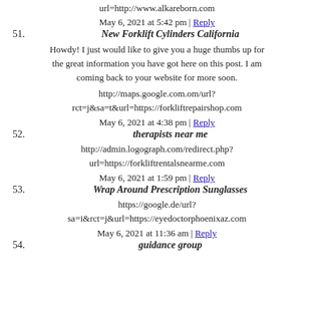url=http://www.alkareborn.com
May 6, 2021 at 5:42 pm | Reply
51. New Forklift Cylinders California
Howdy! I just would like to give you a huge thumbs up for the great information you have got here on this post. I am coming back to your website for more soon.
http://maps.google.com.om/url? rct=j&sa=t&url=https://forkliftrepairshop.com
May 6, 2021 at 4:38 pm | Reply
52. therapists near me
http://admin.logograph.com/redirect.php? url=https://forkliftrentalsnearme.com
May 6, 2021 at 1:59 pm | Reply
53. Wrap Around Prescription Sunglasses
https://google.de/url? sa=i&rct=j&url=https://eyedoctorphoenixaz.com
May 6, 2021 at 11:36 am | Reply
54. guidance group